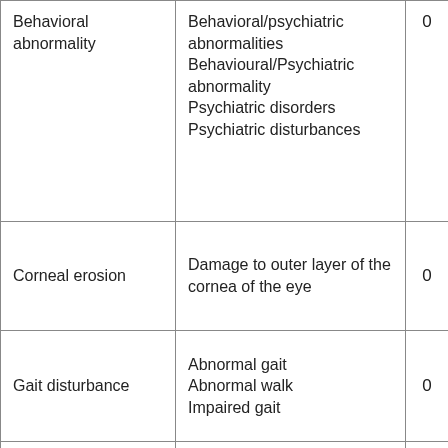| Condition | Description | Count |
| --- | --- | --- |
| Behavioral abnormality | Behavioral/psychiatric abnormalities
Behavioural/Psychiatric abnormality
Psychiatric disorders
Psychiatric disturbances | 0 |
| Corneal erosion | Damage to outer layer of the cornea of the eye | 0 |
| Gait disturbance | Abnormal gait
Abnormal walk
Impaired gait | 0 |
| Hypertension |  | 0 |
| Muscular | Low or weak muscle | 0 |